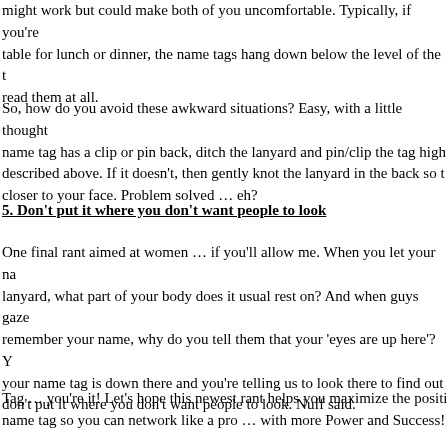might work but could make both of you uncomfortable. Typically, if you're at a table for lunch or dinner, the name tags hang down below the level of the table, read them at all.
So, how do you avoid these awkward situations? Easy, with a little thought. If your name tag has a clip or pin back, ditch the lanyard and pin/clip the tag high as described above. If it doesn't, then gently knot the lanyard in the back so that it hangs closer to your face. Problem solved … eh?
5.  Don't put it where you don't want people to look
One final rant aimed at women … if you'll allow me. When you let your name tag hang on a lanyard, what part of your body does it usual rest on? And when guys gaze there to remember your name, why do you tell them that your 'eyes are up here'? You're saying your name tag is down there and you're telling us to look there to find out your name … don't put it where you don't want people to look. Nuff said.
Tag … you're it! Let's hope this newest rant helps you maximize the positive power of your name tag so you can network like a pro … with more Power and Success!